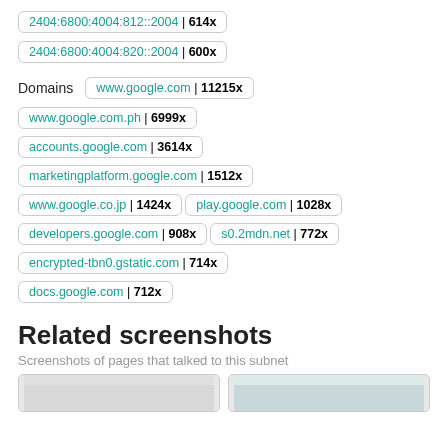2404:6800:4004:812::2004 | 614x
2404:6800:4004:820::2004 | 600x
Domains
www.google.com | 11215x
www.google.com.ph | 6999x
accounts.google.com | 3614x
marketingplatform.google.com | 1512x
www.google.co.jp | 1424x
play.google.com | 1028x
developers.google.com | 908x
s0.2mdn.net | 772x
encrypted-tbn0.gstatic.com | 714x
docs.google.com | 712x
Related screenshots
Screenshots of pages that talked to this subnet
[Figure (screenshot): Two screenshot thumbnails of web pages]